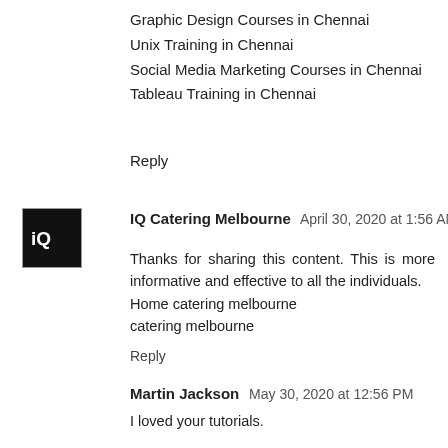Graphic Design Courses in Chennai
Unix Training in Chennai
Social Media Marketing Courses in Chennai
Tableau Training in Chennai
Reply
[Figure (logo): IQ Catering Melbourne logo — black square with white 'iQ' text]
IQ Catering Melbourne  April 30, 2020 at 1:56 AM
Thanks for sharing this content. This is more informative and effective to all the individuals.
Home catering melbourne
catering melbourne
Reply
Martin Jackson  May 30, 2020 at 12:56 PM
I loved your tutorials.
Reply